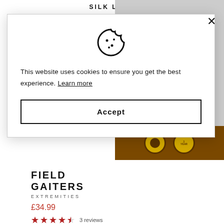SILK LINER GLOVES
[Figure (screenshot): Cookie consent modal dialog with cookie icon, consent text, Learn more link, and Accept button. Background shows partial product page for Field Gaiters by Extremities.]
This website uses cookies to ensure you get the best experience. Learn more
Accept
FIELD GAITERS
EXTREMITIES
£34.99
3 reviews